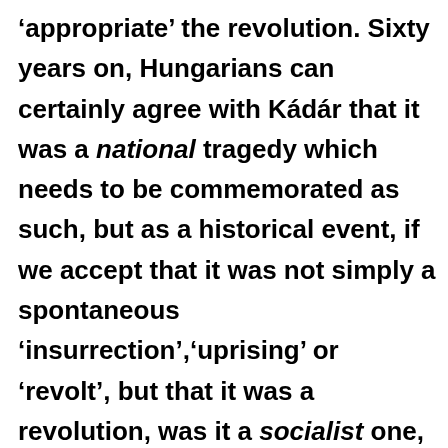'appropriate' the revolution. Sixty years on, Hungarians can certainly agree with Kádár that it was a national tragedy which needs to be commemorated as such, but as a historical event, if we accept that it was not simply a spontaneous 'insurrection','uprising' or 'revolt', but that it was a revolution, was it a socialist one, or was it liberal or nationalist in its ideological origins?